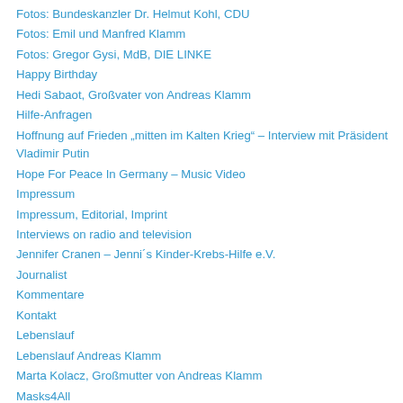Fotos: Bundeskanzler Dr. Helmut Kohl, CDU
Fotos: Emil und Manfred Klamm
Fotos: Gregor Gysi, MdB, DIE LINKE
Happy Birthday
Hedi Sabaot, Großvater von Andreas Klamm
Hilfe-Anfragen
Hoffnung auf Frieden „mitten im Kalten Krieg“ – Interview mit Präsident Vladimir Putin
Hope For Peace In Germany – Music Video
Impressum
Impressum, Editorial, Imprint
Interviews on radio and television
Jennifer Cranen – Jenni´s Kinder-Krebs-Hilfe e.V.
Journalist
Kommentare
Kontakt
Lebenslauf
Lebenslauf Andreas Klamm
Marta Kolacz, Großmutter von Andreas Klamm
Masks4All